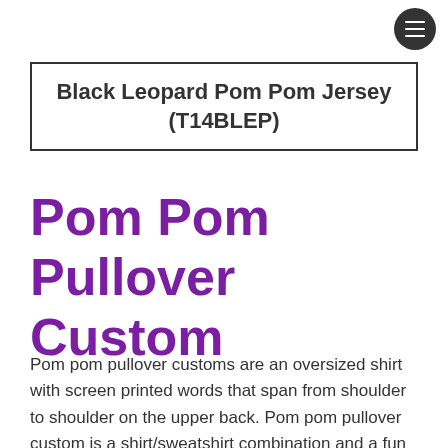☰
Black Leopard Pom Pom Jersey (T14BLEP)
Pom Pom Pullover Custom
Pom pom pullover customs are an oversized shirt with screen printed words that span from shoulder to shoulder on the upper back. Pom pom pullover custom is a shirt/sweatshirt combination and a fun comfortable stylish way to show off your support for your favorite sports team, colleges or just about anything you can think of. Pom